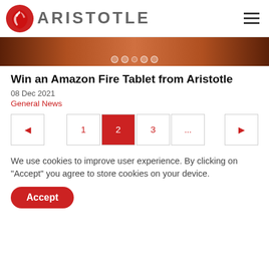ARISTOTLE
[Figure (photo): Banner image with decorative carousel dots at the bottom]
Win an Amazon Fire Tablet from Aristotle
08 Dec 2021
General News
Pagination: ◄ 1 2 3 ... ►
We use cookies to improve user experience. By clicking on 'Accept' you agree to store cookies on your device.
Accept